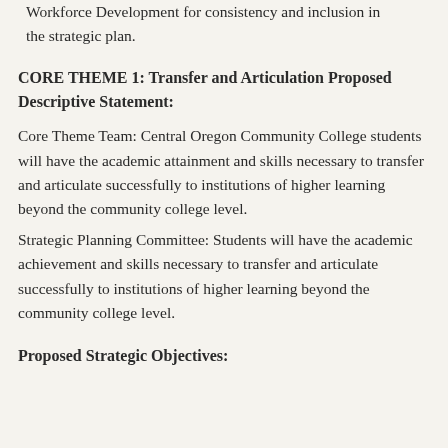Workforce Development for consistency and inclusion in the strategic plan.
CORE THEME 1: Transfer and Articulation Proposed Descriptive Statement:
Core Theme Team: Central Oregon Community College students will have the academic attainment and skills necessary to transfer and articulate successfully to institutions of higher learning beyond the community college level.
Strategic Planning Committee: Students will have the academic achievement and skills necessary to transfer and articulate successfully to institutions of higher learning beyond the community college level.
Proposed Strategic Objectives: